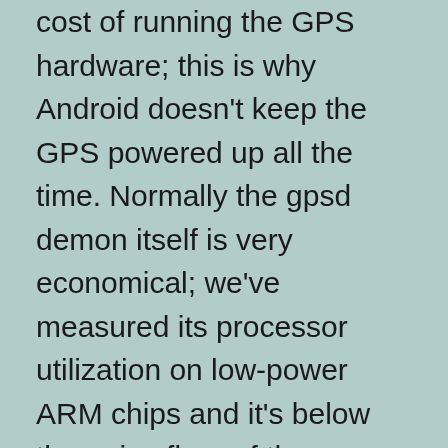cost of running the GPS hardware; this is why Android doesn't keep the GPS powered up all the time. Normally the gpsd demon itself is very economical; we've measured its processor utilization on low-power ARM chips and it's below the noise floor of the process monitor. As it should be; the data rate from a GPS isn't very high, there's simply no reason for gpsd to spend a lot of cycles.
Nevertheless, instances of excessive battery drain have been reported with the system monitor fingering gpsd as the culprit, especially on the Samsung Galaxy SIII. In some cases